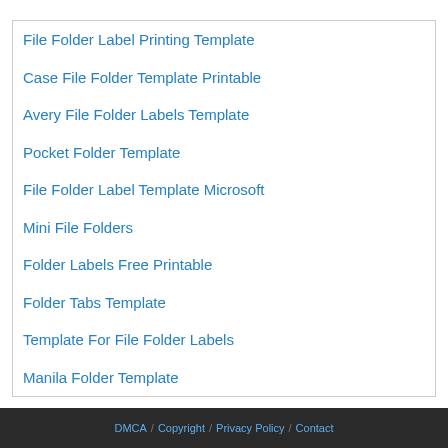File Folder Label Printing Template
Case File Folder Template Printable
Avery File Folder Labels Template
Pocket Folder Template
File Folder Label Template Microsoft
Mini File Folders
Folder Labels Free Printable
Folder Tabs Template
Template For File Folder Labels
Manila Folder Template
DMCA / Copyright / Privacy Policy / Contact